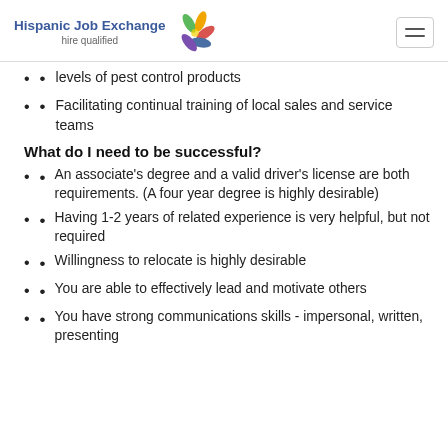Hispanic Job Exchange hire qualified
levels of pest control products
Facilitating continual training of local sales and service teams
What do I need to be successful?
An associate's degree and a valid driver's license are both requirements. (A four year degree is highly desirable)
Having 1-2 years of related experience is very helpful, but not required
Willingness to relocate is highly desirable
You are able to effectively lead and motivate others
You have strong communications skills - impersonal, written, presenting